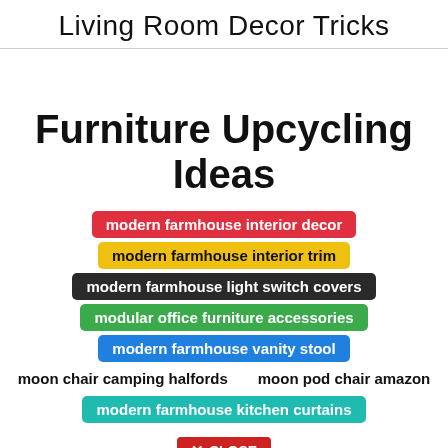Living Room Decor Tricks
Furniture Upcycling Ideas
modern farmhouse interior decor
modern farmhouse interior trim
modern farmhouse light switch covers
modular office furniture accessories
modern farmhouse vanity stool
moon chair camping halfords
moon pod chair amazon
modern farmhouse kitchen curtains
✕ CLOSE